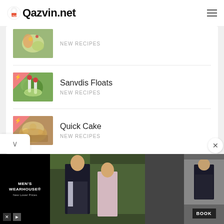Qazvin.net
[Figure (screenshot): Partially visible recipe thumbnail at top]
New Recipes
[Figure (photo): Recipe thumbnail for Sanvdis Floats with pink badge]
Sanvdis Floats
New Recipes
[Figure (photo): Recipe thumbnail for Quick Cake with pink badge]
Quick Cake
New Recipes
[Figure (screenshot): Men's Wearhouse advertisement banner at bottom with couple in formal wear and Book button]